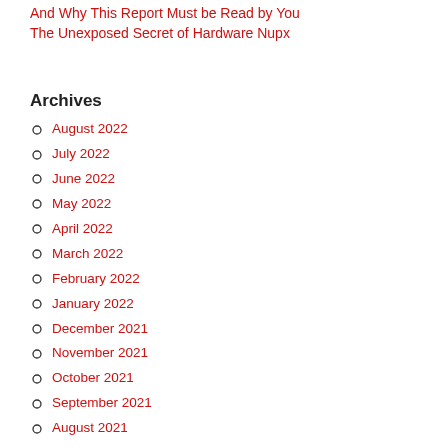And Why This Report Must be Read by You
The Unexposed Secret of Hardware Nupx
Archives
August 2022
July 2022
June 2022
May 2022
April 2022
March 2022
February 2022
January 2022
December 2021
November 2021
October 2021
September 2021
August 2021
July 2021
Categories